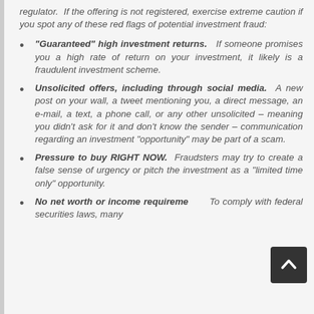regulator. If the offering is not registered, exercise extreme caution if you spot any of these red flags of potential investment fraud:
"Guaranteed" high investment returns. If someone promises you a high rate of return on your investment, it likely is a fraudulent investment scheme.
Unsolicited offers, including through social media. A new post on your wall, a tweet mentioning you, a direct message, an e-mail, a text, a phone call, or any other unsolicited – meaning you didn't ask for it and don't know the sender – communication regarding an investment "opportunity" may be part of a scam.
Pressure to buy RIGHT NOW. Fraudsters may try to create a false sense of urgency or pitch the investment as a "limited time only" opportunity.
No net worth or income requirements. To comply with federal securities laws, many...